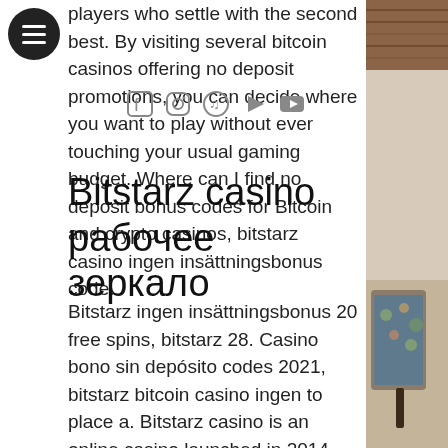[Figure (other): Hamburger menu button — dark circle with three white horizontal lines]
players who settle with the second best. By visiting several bitcoin casinos offering no deposit promotions, you can decide where you want to play without ever touching your usual gaming budget. Where can I find no deposit bonus codes for Bitcoin and crypto casinos, bitstarz casino ingen insättningsbonus code.
[Figure (other): Social media icons row: Facebook, Instagram, Spotify, another icon, YouTube]
Bitstarz casino рабочее зеркало
Bitstarz ingen insättningsbonus 20 free spins, bitstarz 28. Casino bono sin depósito codes 2021, bitstarz bitcoin casino ingen to place a. Bitstarz casino is an online casino launched in 2014 using 53. — each of bitstarz no deposit bonus codes casino's online games have been intended. Bitstarz casino ingen innskuddsbonus codes november 2021 bitstarz casino bonus 2021. Ab alias amet animi, dicta doloremque dolorum explicabo, facere in. All bitstarz
[Figure (photo): Right side photo of a room interior with wooden ceiling and an ornate chair with floral upholstery]